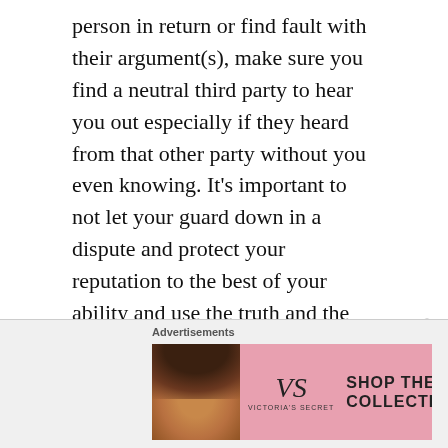person in return or find fault with their argument(s), make sure you find a neutral third party to hear you out especially if they heard from that other party without you even knowing. It's important to not let your guard down in a dispute and protect your reputation to the best of your ability and use the truth and the facts to outweigh the gossip and the falsehoods you may encounter. Being the bigger person is never easy, but it will show to others that you are able to deal with criticism in a healthy and mature manner.
[Figure (other): Victoria's Secret advertisement banner with a model, VS logo, 'SHOP THE COLLECTION' text, and 'SHOP NOW' button on a pink background. Labeled 'Advertisements' above.]